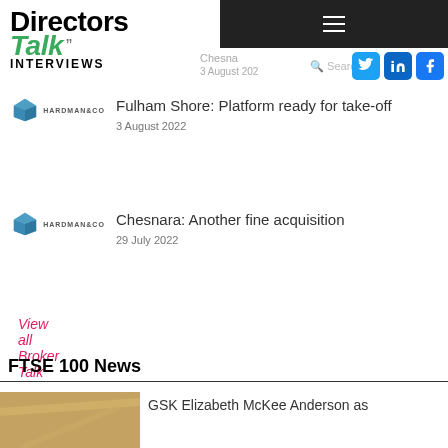Directors Talk Interviews
Fulham Shore: Platform ready for take-off
3 August 2022
Chesnara: Another fine acquisition
29 July 2022
View all Broker Talk
FTSE 100 News
GSK Elizabeth McKee Anderson as